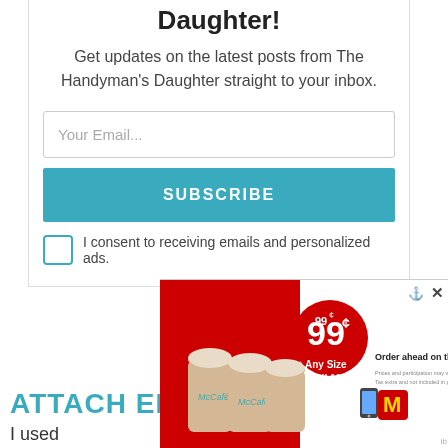Daughter!
Get updates on the latest posts from The Handyman's Daughter straight to your inbox.
Your Email...
SUBSCRIBE
I consent to receiving emails and personalized ads.
ATTACH ELASTIC
I used
[Figure (photo): McDonald's McCafe ad showing iced coffee drinks for 99¢ any size until 11AM, with order ahead on the app option and McDonald's logo]
1K